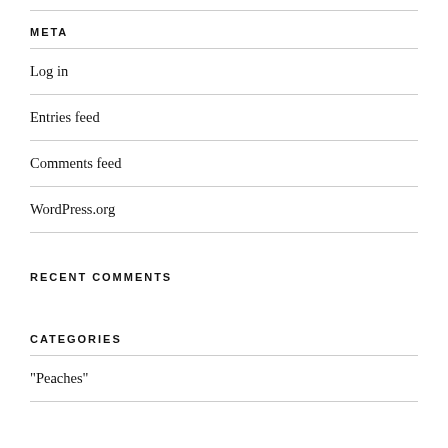META
Log in
Entries feed
Comments feed
WordPress.org
RECENT COMMENTS
CATEGORIES
"Peaches"